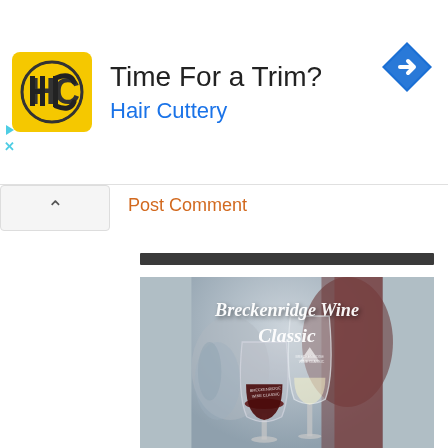[Figure (screenshot): Advertisement banner for Hair Cuttery: HC logo in yellow square, text 'Time For a Trim?' and 'Hair Cuttery' in blue, blue diamond navigation icon top right, cyan play/close buttons bottom left]
Post Comment
[Figure (photo): Photo of two wine glasses being held up, branded with 'Breckenridge Wine Classic' logo. White script text overlay reads 'Breckenridge Wine Classic'. Blurred outdoor background.]